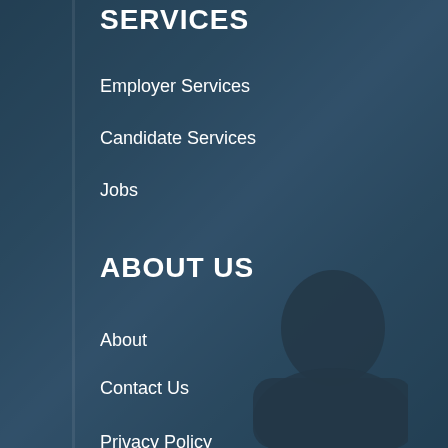SERVICES
Employer Services
Candidate Services
Jobs
ABOUT US
About
Contact Us
Privacy Policy